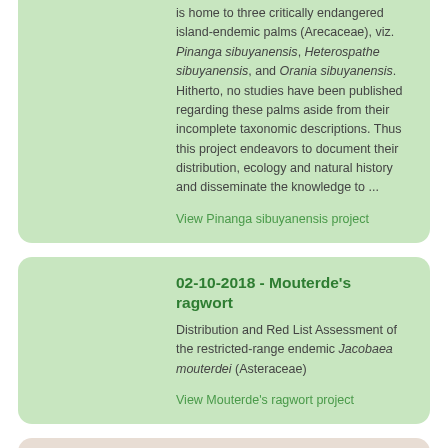is home to three critically endangered island-endemic palms (Arecaceae), viz. Pinanga sibuyanensis, Heterospathe sibuyanensis, and Orania sibuyanensis. Hitherto, no studies have been published regarding these palms aside from their incomplete taxonomic descriptions. Thus this project endeavors to document their distribution, ecology and natural history and disseminate the knowledge to ...
View Pinanga sibuyanensis project
02-10-2018 - Mouterde's ragwort
Distribution and Red List Assessment of the restricted-range endemic Jacobaea mouterdei (Asteraceae)
View Mouterde's ragwort project
02-10-2018 - grasshoppers